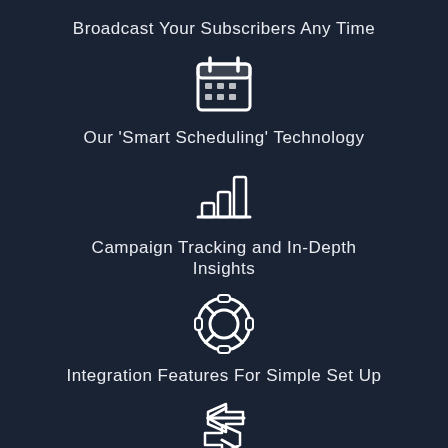Broadcast Your Subscribers Any Time
[Figure (illustration): Calendar icon with grid of squares, outline style in white]
Our 'Smart Scheduling' Technology
[Figure (illustration): Bar chart icon with three ascending bars, outline style in white]
Campaign Tracking and In-Depth Insights
[Figure (illustration): Life preserver / lifebuoy ring icon, outline style in white]
Integration Features For Simple Set Up
[Figure (illustration): Two opposing arrows icon (left and right), outline style in white]